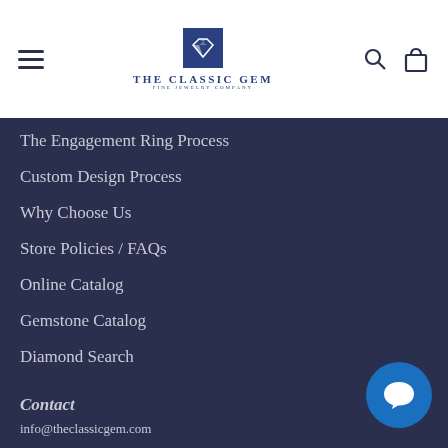[Figure (logo): The Classic Gem fine jewelry company logo with blue diamond icon and text]
The Engagement Ring Process
Custom Design Process
Why Choose Us
Store Policies / FAQs
Online Catalog
Gemstone Catalog
Diamond Search
Contact
info@theclassicgem.com